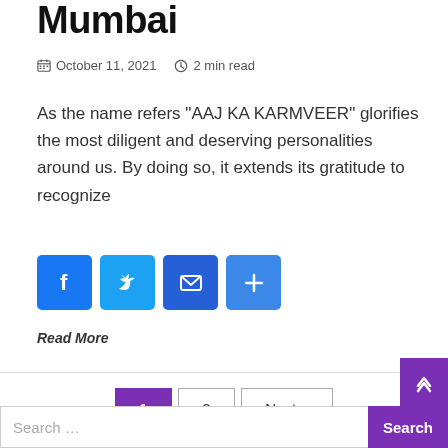Mumbai
October 11, 2021  2 min read
As the name refers “AAJ KA KARMVEER” glorifies the most diligent and deserving personalities around us. By doing so, it extends its gratitude to recognize
[Figure (infographic): Social share buttons: Facebook, Twitter, Email, Share+]
Read More
Pagination: 1 (active), 2, Next »
Search …  Search